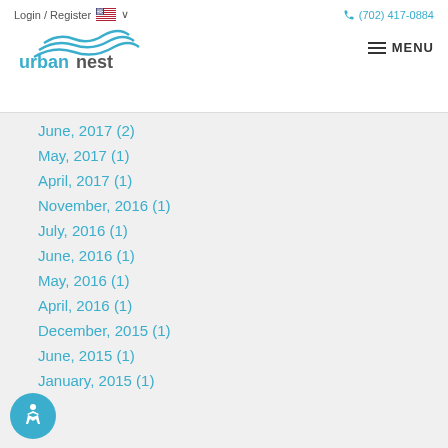Login / Register  (702) 417-0884
[Figure (logo): Urban Nest Realty logo with teal wave graphic above the text 'urbannest REALTY']
June, 2017  (2)
May, 2017  (1)
April, 2017  (1)
November, 2016  (1)
July, 2016  (1)
June, 2016  (1)
May, 2016  (1)
April, 2016  (1)
December, 2015  (1)
June, 2015  (1)
January, 2015  (1)